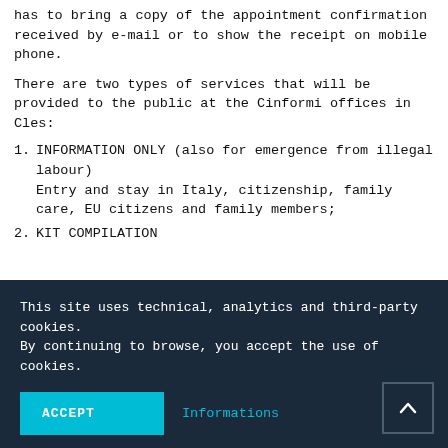has to bring a copy of the appointment confirmation received by e-mail or to show the receipt on mobile phone.
There are two types of services that will be provided to the public at the Cinformi offices in Cles:
INFORMATION ONLY (also for emergence from illegal labour)
Entry and stay in Italy, citizenship, family care, EU citizens and family members;
KIT COMPILATION
This site uses technical, analytics and third-party cookies. By continuing to browse, you accept the use of cookies.
ACCEPT
Informations